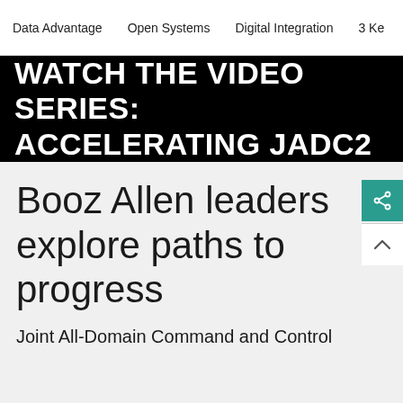Data Advantage   Open Systems   Digital Integration   3 Ke
[Figure (screenshot): Black banner with white bold uppercase text: WATCH THE VIDEO SERIES: ACCELERATING JADC2]
Booz Allen leaders explore paths to progress
Joint All-Domain Command and Control